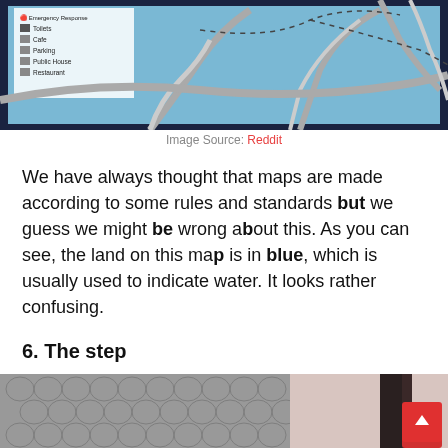[Figure (map): Partial view of a map with blue background (land shown in blue), road lines in gray, and a legend panel on the left listing icons for Toilets, Cafe, Parking, Public House, Restaurant. Roads and dotted paths overlay a light blue area.]
Image Source: Reddit
We have always thought that maps are made according to some rules and standards but we guess we might be wrong about this. As you can see, the land on this map is in blue, which is usually used to indicate water. It looks rather confusing.
6. The step
[Figure (photo): Bottom portion of an image showing paving stones on the left half and a staircase with a wall on the right half. A red scroll-to-top button with an upward arrow is overlaid in the bottom-right corner.]